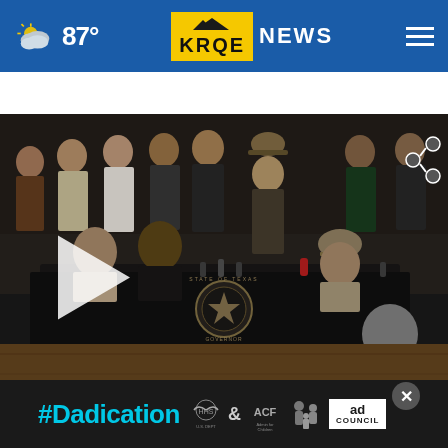87° KRQE NEWS
Beto confronts Abbott during Uvalde school shoot... ×
[Figure (screenshot): Press conference scene with officials seated at a table with Texas Governor seal, Beto O'Rourke confronting Governor Abbott. Play button overlay visible. Share icon in top right corner.]
[Figure (photo): Partial bottom strip showing a person with a white cap against a light blue background.]
[Figure (other): Advertisement banner: #Dadication campaign with HHS, ACF, National Responsible Fatherhood Clearinghouse, and Ad Council logos on dark background. Close button at top right.]